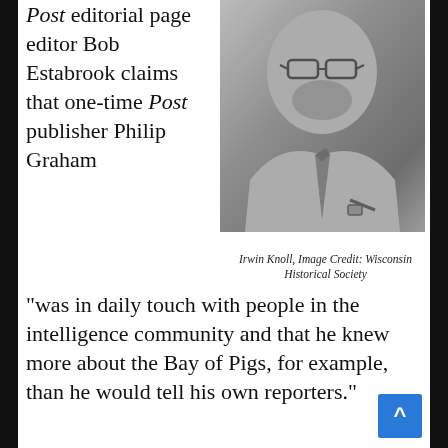Post editorial page editor Bob Estabrook claims that one-time Post publisher Philip Graham
[Figure (photo): Black and white photograph of Irwin Knoll, a man with glasses and a beard wearing a dress shirt and tie, seated and looking at the camera.]
Irwin Knoll, Image Credit: Wisconsin Historical Society
"was in daily touch with people in the intelligence community and that he knew more about the Bay of Pigs, for example, than he would tell his own reporters."